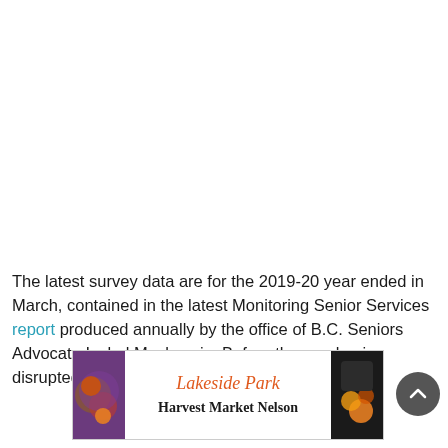The latest survey data are for the 2019-20 year ended in March, contained in the latest Monitoring Senior Services report produced annually by the office of B.C. Seniors Advocate Isobel Mackenzie. Before the pandemic disrupted
[Figure (other): Advertisement banner for Lakeside Park Harvest Market Nelson with decorative produce images on either side]